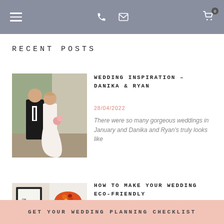Navigation bar with hamburger menu, phone icon, email icon, and cart icon
RECENT POSTS
[Figure (photo): Wedding couple — groom in black tuxedo and bride in white gown, standing outdoors]
WEDDING INSPIRATION – DANIKA & RYAN
28/04/2022
There were so many gorgeous weddings in January and Danika and Ryan's truly looks like
[Figure (photo): Eco-friendly wedding flatlay: a dark-framed calendar/planner, a bowl of colorful fruits/vegetables, a white plate, and a small bowl]
HOW TO MAKE YOUR WEDDING ECO-FRIENDLY
22/04/2022
GET YOUR WEDDING PLANNING CHECKLIST